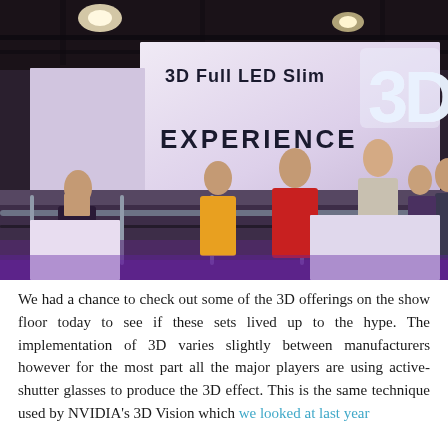[Figure (photo): Trade show floor photo showing a '3D Full LED Slim EXPERIENCE' display booth with a large illuminated '3D' sign. Several people are visible on an elevated walkway with glass railings, including a man in a red shirt and a woman. The venue has industrial ceiling lighting and the booth has a purple-lit ambient atmosphere.]
We had a chance to check out some of the 3D offerings on the show floor today to see if these sets lived up to the hype. The implementation of 3D varies slightly between manufacturers however for the most part all the major players are using active-shutter glasses to produce the 3D effect. This is the same technique used by NVIDIA's 3D Vision which we looked at last year